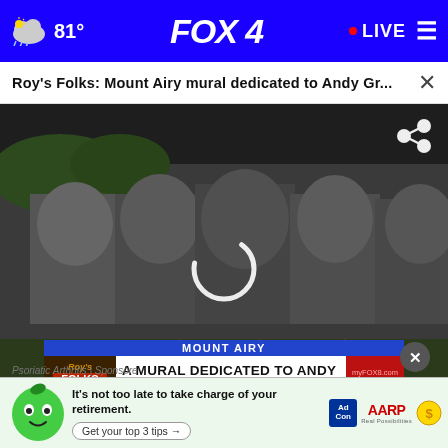FOX 4 · 81° · LIVE
Roy's Folks: Mount Airy mural dedicated to Andy Gr...
[Figure (screenshot): Video player showing a black and white mural of Andy Griffith at different ages painted on a wall, with orange traffic cones below. Lower third overlay reads 'MOUNT AIRY / A MURAL DEDICATED TO ANDY GRIFFITH'. Roy's Folks with Chad Tucker branding visible. Timestamp 4:43, 77°. A circular loading/replay spinner is centered on the video.]
Symptoms of Psoriatic Arthritis You May Wish You Knew...
Psoriatic Arthritis | Sponsor
[Figure (infographic): AARP advertisement banner: green smiling mascot character, text 'It’s not too late to take charge of your retirement. Get your top 3 tips →', Ad Council logo, AARP Real Possibilities logo with gold coin.]